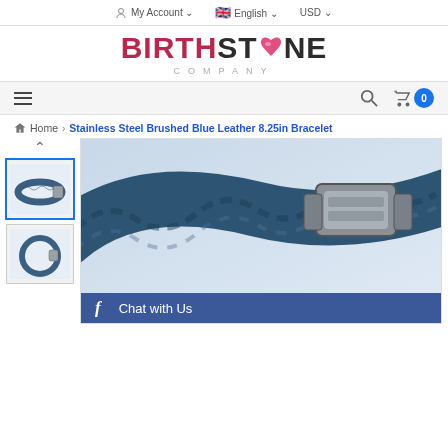My Account  English  USD
[Figure (logo): Birthstone Company logo with stylized heart gem replacing O in STONE]
Navigation menu bar with hamburger, search, and cart (0) icons
Home > Stainless Steel Brushed Blue Leather 8.25in Bracelet
[Figure (photo): Thumbnail of blue braided leather bracelet with stainless steel clasp, selected state]
[Figure (photo): Thumbnail of blue braided leather bracelet shown as full circle]
[Figure (photo): Large main product image: Stainless Steel Brushed Blue Leather 8.25in Bracelet, close-up of braided blue leather and silver clasp]
Chat with Us